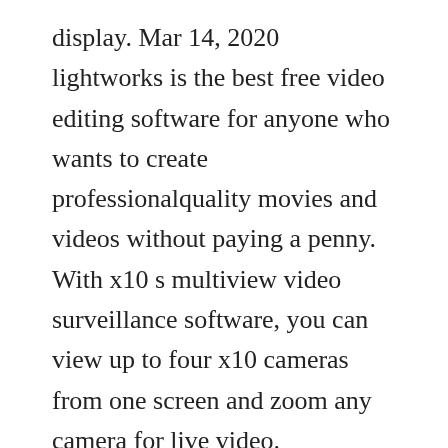display. Mar 14, 2020 lightworks is the best free video editing software for anyone who wants to create professionalquality movies and videos without paying a penny. With x10 s multiview video surveillance software, you can view up to four x10 cameras from one screen and zoom any camera for live video.
There is also the possibility to arrange the windows based on priority. Made to work like windows explorer with an enhanced interface that allows viewing of all of your drives in one view. You can generate fully customizable